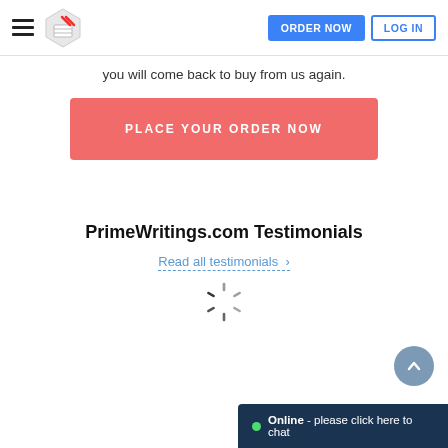ORDER NOW | LOG IN
you will come back to buy from us again.
PLACE YOUR ORDER NOW
PrimeWritings.com Testimonials
Read all testimonials >
[Figure (other): Loading spinner graphic]
Online - please click here to chat